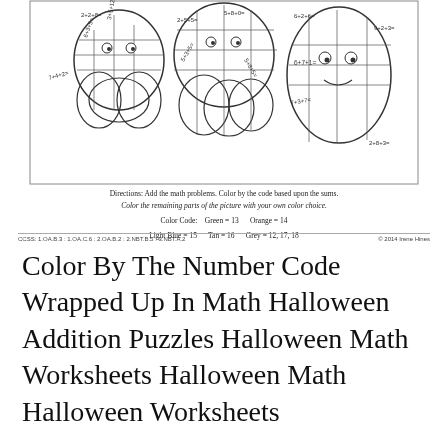[Figure (illustration): A Halloween color-by-number math worksheet showing wrapped mummy figures with addition problems written in different sections. Problems include: 7+4+2, 2+5+5, 6+2+6, 9+2+3, 6+7+1, 7+3+7, 5+8+5, 5+8+0, 3+5+12, 2+2+8, 6+3+5, 2+8+3.]
Directions: Add the math problems. Color by the code based upon the sums.
Color the remaining parts of the picture with your own color choice.
Color Code:   Green = 13   Orange = 14
Light Blue = 15   Tan = 16   Grey = 12, 17, 18
CCSS: 1.OA.B.3 : 1.OA.C.6 : 2.OA.B.2 : 2.NBT.B.5 : 3.NBT.A.2   © 2014 Irene Hines
Color By The Number Code Wrapped Up In Math Halloween Addition Puzzles Halloween Math Worksheets Halloween Math Halloween Worksheets